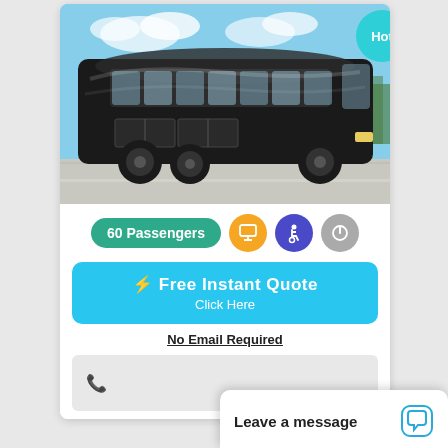[Figure (photo): A large black luxury motor coach / charter bus parked in a parking lot, side view showing the full length of the vehicle, blue sky with clouds in background]
Hot
60 Passengers
[Figure (infographic): Monitor icon (orange circle), Wheelchair accessibility icon (purple circle), Power/plug icon (gray circle)]
⚡ Free Instant Quote
Click Here
No Email Required
📞
Leave a message